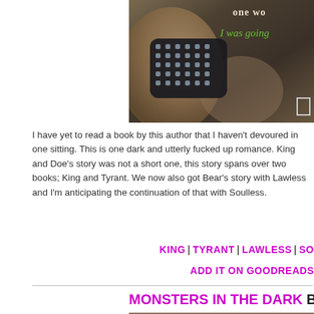[Figure (photo): Close-up photo of a wrist wearing a dark jeweled/beaded bracelet, with decorative text overlay reading 'one wo...' and 'I was going...' in italic green script, and a small box graphic in the corner. Dark sepia-toned background.]
I have yet to read a book by this author that I haven't devoured in one sitting. This is one dark and utterly fucked up romance. King and Doe's story was not a short one, this story spans over two books; King and Tyrant. We now also got Bear's story with Lawless and I'm anticipating the continuation of that with Soulless.
KING | TYRANT | LAWLESS | SO...
ADD IT ON GOODREADS
MONSTERS IN THE DARK BY P...
[Figure (photo): Partial photo showing the top of a person's head with brown hair, against a blurred background with blue/grey tones.]